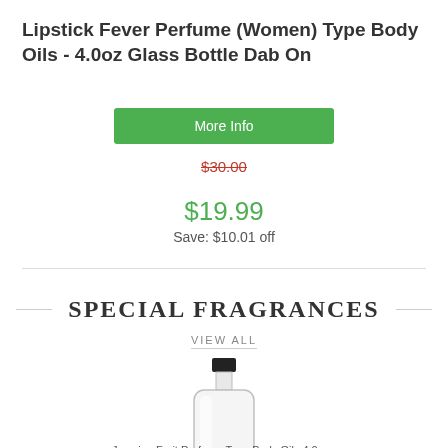Lipstick Fever Perfume (Women) Type Body Oils - 4.0oz Glass Bottle Dab On
More Info
$30.00
$19.99
Save: $10.01 off
SPECIAL FRAGRANCES
VIEW ALL
[Figure (photo): Clear glass dab-on perfume bottle with black cap]
Jasmine Fruit Perfume Type Body Oils 4.0 o...